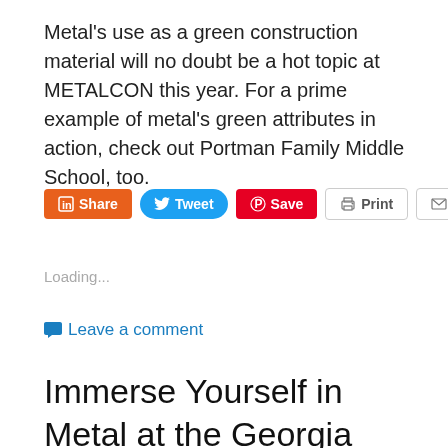Metal's use as a green construction material will no doubt be a hot topic at METALCON this year. For a prime example of metal's green attributes in action, check out Portman Family Middle School, too.
[Figure (screenshot): Social sharing buttons row: LinkedIn Share (orange), Tweet (blue), Pinterest Save (red), Print (gray outline), Email (gray outline)]
Loading...
Leave a comment
Immerse Yourself in Metal at the Georgia Aquarium